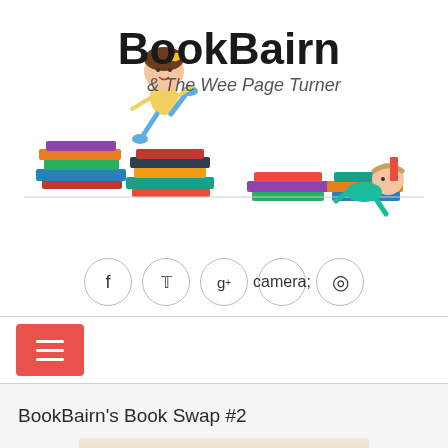[Figure (logo): BookBairn & The Wee Page Turner logo with illustrated girl jumping over book stacks and baby crawling, bold text 'BookBairn' and subtitle '& The Wee Page Turner']
[Figure (infographic): Row of five circular social media icon buttons: Facebook (f), Twitter (bird), Google+ (g+), Instagram (camera), Pinterest (p)]
[Figure (other): Red hamburger menu button with three horizontal white lines]
BookBairn's Book Swap #2
[Figure (photo): Partial view of a tan/cream colored image at the bottom of the page]